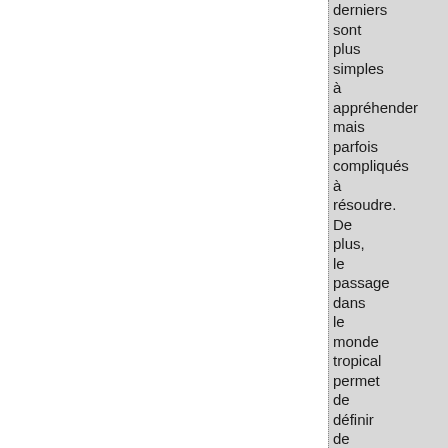derniers sont plus simples à appréhender mais parfois compliqués à résoudre. De plus, le passage dans le monde tropical permet de définir de mystérieux invariants